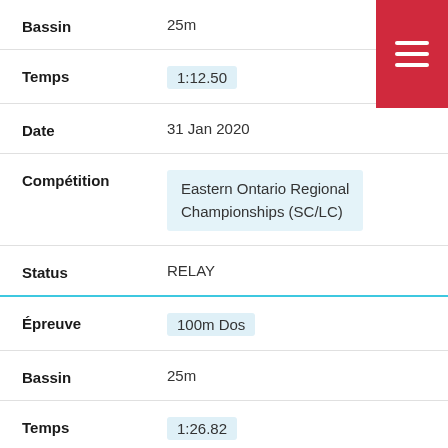| Field | Value |
| --- | --- |
| Bassin | 25m |
| Temps | 1:12.50 |
| Date | 31 Jan 2020 |
| Compétition | Eastern Ontario Regional Championships (SC/LC) |
| Status | RELAY |
| Épreuve | 100m Dos |
| Bassin | 25m |
| Temps | 1:26.82 |